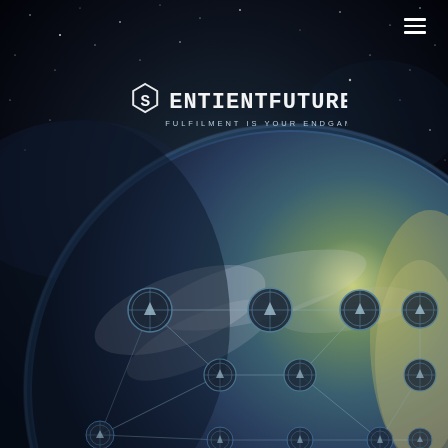[Figure (illustration): Dark space background with stars and a large blue-green Earth globe visible in the lower portion, overlaid with a geometric network diagram of interconnected nodes with compass/arrow icons on the planet surface.]
[Figure (logo): SentientFuture logo in stylized angular/tech font with a hexagonal 'S' icon to the left. Below reads 'FULFILMENT IS YOUR ENDGAME' in spaced uppercase letters.]
SentientFuture
FULFILMENT IS YOUR ENDGAME